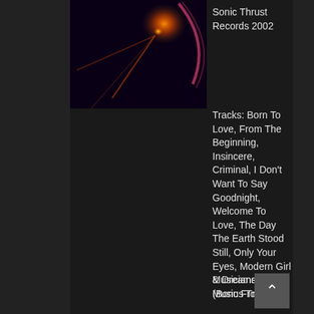[Figure (illustration): Album cover for 'Music From The Planet' featuring Jay Graydon and Dreamers, with orange starburst and purple arc on dark background]
Sonic Thrust Records 2002
Tracks: Born To Love, From The Beginning, Insincere, Criminal, I Don't Want To Say Goodnight, Welcome To Love, The Day The Earth Stood Still, Only Your Eyes, Modern Girl & Dreamers (Bonus Track).
Musicians on the Music From The